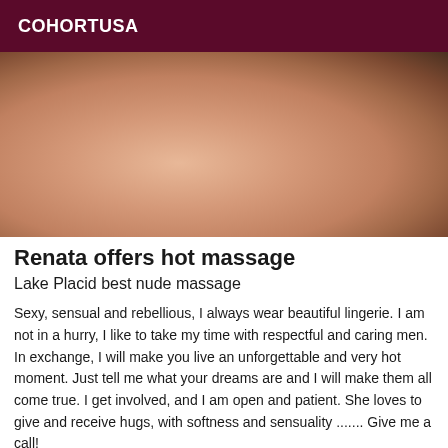COHORTUSA
[Figure (photo): Close-up photo of a person's neck and shoulder area]
Renata offers hot massage
Lake Placid best nude massage
Sexy, sensual and rebellious, I always wear beautiful lingerie. I am not in a hurry, I like to take my time with respectful and caring men. In exchange, I will make you live an unforgettable and very hot moment. Just tell me what your dreams are and I will make them all come true. I get involved, and I am open and patient. She loves to give and receive hugs, with softness and sensuality ....... Give me a call!